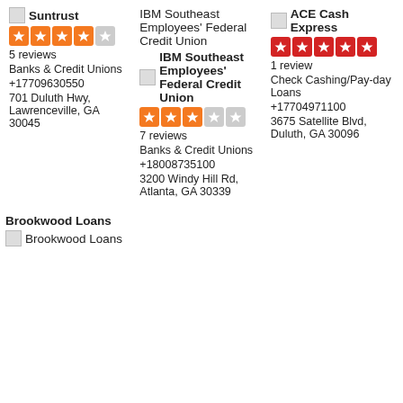Suntrust
4/5 stars
5 reviews
Banks & Credit Unions
+17709630550
701 Duluth Hwy, Lawrenceville, GA 30045
IBM Southeast Employees' Federal Credit Union
2.5/5 stars
7 reviews
Banks & Credit Unions
+18008735100
3200 Windy Hill Rd, Atlanta, GA 30339
ACE Cash Express
5/5 stars
1 review
Check Cashing/Pay-day Loans
+17704971100
3675 Satellite Blvd, Duluth, GA 30096
Brookwood Loans